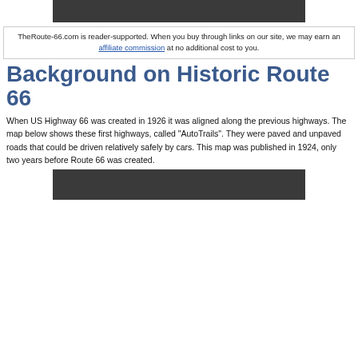[Figure (photo): Dark gray image placeholder at top of page]
TheRoute-66.com is reader-supported. When you buy through links on our site, we may earn an affiliate commission at no additional cost to you.
Background on Historic Route 66
When US Highway 66 was created in 1926 it was aligned along the previous highways. The map below shows these first highways, called "AutoTrails". They were paved and unpaved roads that could be driven relatively safely by cars. This map was published in 1924, only two years before Route 66 was created.
[Figure (photo): Dark gray image placeholder at bottom of page]